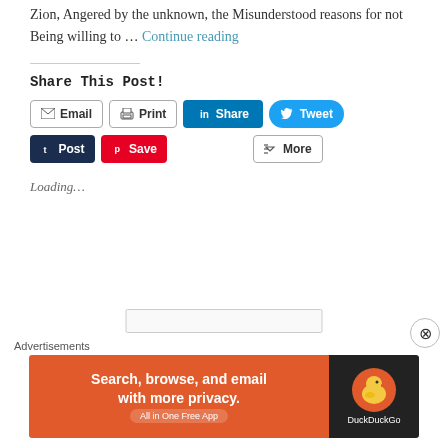Zion, Angered by the unknown, the Misunderstood reasons for not Being willing to … Continue reading
Share This Post!
[Figure (screenshot): Social share buttons: Email, Print, LinkedIn Share, Tweet, Tumblr Post, Pinterest Save, More]
Loading...
[Figure (screenshot): Empty text input box]
Advertisements
[Figure (screenshot): DuckDuckGo advertisement banner: Search, browse, and email with more privacy. All in One Free App]
[Figure (other): Close button (X circle) overlay]